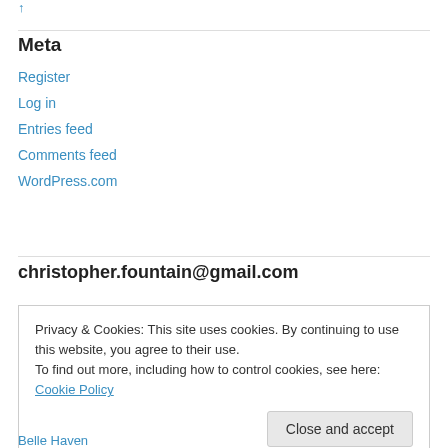Meta
Register
Log in
Entries feed
Comments feed
WordPress.com
christopher.fountain@gmail.com
Privacy & Cookies: This site uses cookies. By continuing to use this website, you agree to their use. To find out more, including how to control cookies, see here: Cookie Policy
Close and accept
Belle Haven